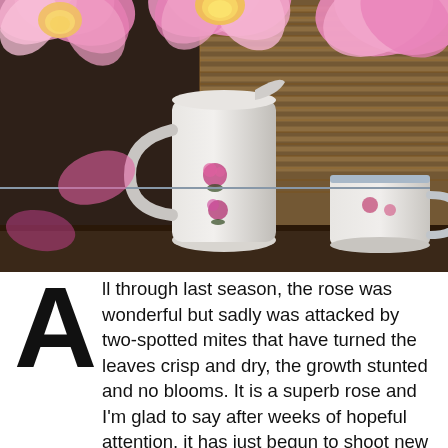[Figure (photo): Photo of pink roses in a white floral-decorated ceramic pitcher, with a smaller white and blue cup beside it, set against a window with wooden blinds in the background.]
All through last season, the rose was wonderful but sadly was attacked by two-spotted mites that have turned the leaves crisp and dry, the growth stunted and no blooms. It is a superb rose and I'm glad to say after weeks of hopeful attention, it has just begun to shoot new growth. Spider mites or two-spotted mites are difficult to treat because initially, you can't see them